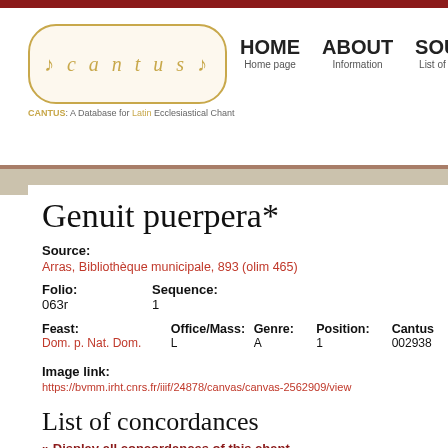CANTUS: A Database for Latin Ecclesiastical Chant — HOME | ABOUT | SOURCES
Genuit puerpera*
Source:
Arras, Bibliothèque municipale, 893 (olim 465)
Folio: 063r    Sequence: 1
Feast: Dom. p. Nat. Dom.    Office/Mass: L    Genre: A    Position: 1    Cantus: 002938
Image link:
https://bvmm.irht.cnrs.fr/iiif/24878/canvas/canvas-2562909/view
List of concordances
» Display all concordances of this chant